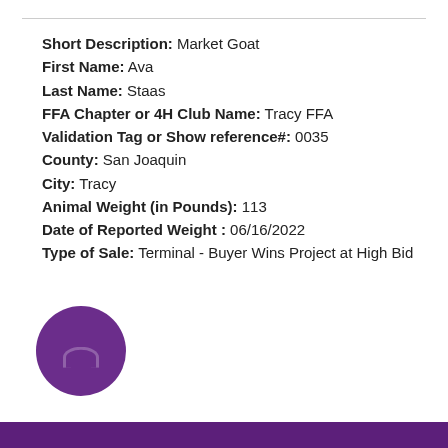Short Description: Market Goat
First Name: Ava
Last Name: Staas
FFA Chapter or 4H Club Name: Tracy FFA
Validation Tag or Show reference#: 0035
County: San Joaquin
City: Tracy
Animal Weight (in Pounds): 113
Date of Reported Weight : 06/16/2022
Type of Sale: Terminal - Buyer Wins Project at High Bid
[Figure (logo): Purple circular logo/icon in the bottom-left area]
Purple bar at bottom of page